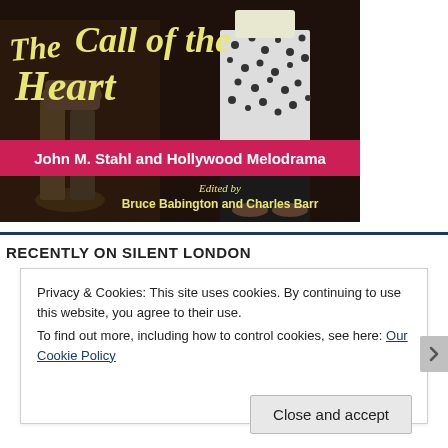[Figure (photo): Book cover for 'The Call of the Heart: John M. Stahl and Hollywood Melodrama', edited by Bruce Babington and Charles Barr. Shows two figures in vintage clothing against a dark background, with yellow script title text and a pink/red banner with white bold subtitle text.]
RECENTLY ON SILENT LONDON
Privacy & Cookies: This site uses cookies. By continuing to use this website, you agree to their use.
To find out more, including how to control cookies, see here: Our Cookie Policy
Close and accept